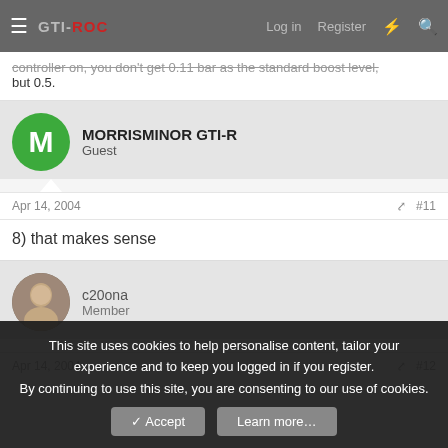GTI-ROC  Log in  Register
controller on, you don't get 0.11 bar as the standard boost level, but 0.5.
MORRISMINOR GTI-R
Guest
Apr 14, 2004  #11
8) that makes sense
c20ona
Member
Apr 14, 2004  #12
This site uses cookies to help personalise content, tailor your experience and to keep you logged in if you register.
By continuing to use this site, you are consenting to our use of cookies.